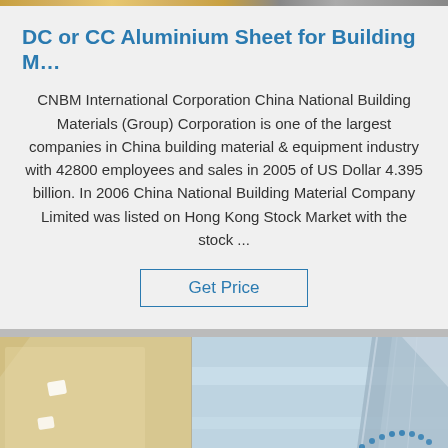[Figure (photo): Decorative top bar with golden/brown gradient strip]
DC or CC Aluminium Sheet for Building M…
CNBM International Corporation China National Building Materials (Group) Corporation is one of the largest companies in China building material & equipment industry with 42800 employees and sales in 2005 of US Dollar 4.395 billion. In 2006 China National Building Material Company Limited was listed on Hong Kong Stock Market with the stock ...
Get Price
[Figure (photo): Photo of aluminium sheets — left panel shows golden/tan packaging paper with small white diamond-shaped labels, right panel shows shiny metallic aluminium sheet rolls with angular silver profiles and a blue 'TOP' logo with dotted arc in the bottom right corner]